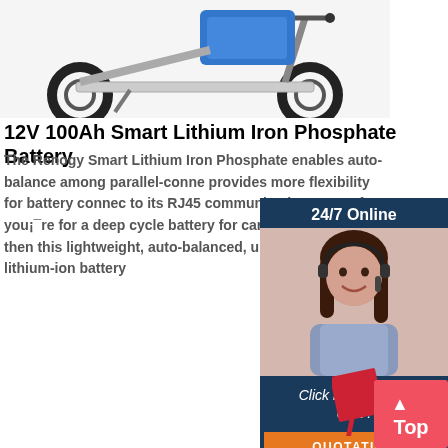[Figure (photo): Electric scooter with blue battery pack visible, shown on white background]
12V 100Ah Smart Lithium Iron Phosphate Battery
The Renogy Smart Lithium Iron Phosphate enables auto-balance among parallel-connected provides more flexibility for battery connec to its RJ45 communication ports. If you're looking for a deep cycle battery for caravan, cabin, use, then this lightweight, auto-balanced, long-cycle-life lithium-ion battery
[Figure (photo): 24/7 Online customer service chat widget showing a woman with headset and buttons for free chat and QUOTATION]
[Figure (illustration): Red 'Top' button with upward arrow in bottom right corner]